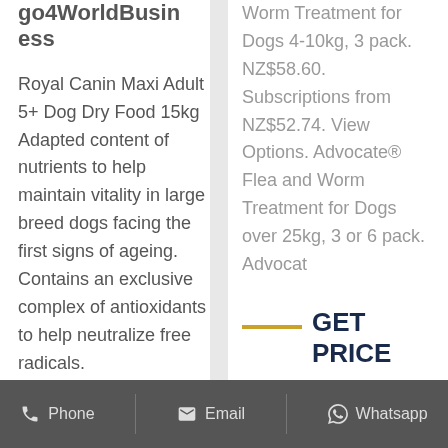go4WorldBusiness
Royal Canin Maxi Adult 5+ Dog Dry Food 15kg Adapted content of nutrients to help maintain vitality in large breed dogs facing the first signs of ageing. Contains an exclusive complex of antioxidants to help neutralize free radicals.
Worm Treatment for Dogs 4-10kg, 3 pack. NZ$58.60. Subscriptions from NZ$52.74. View Options. Advocate® Flea and Worm Treatment for Dogs over 25kg, 3 or 6 pack. Advocat
GET PRICE
Phone   Email   Whatsapp